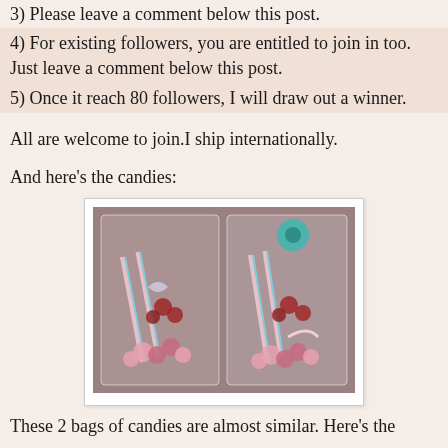3) Please leave a comment below this post.
4) For existing followers, you are entitled to join in too. Just leave a comment below this post.
5) Once it reach 80 followers, I will draw out a winner.
All are welcome to join.I ship internationally.
And here's the candies:
[Figure (photo): Two clear plastic bags filled with crafting supplies including pink flowers, striped paper straws, ribbons, red florals, teal washi tape, and various embellishments.]
These 2 bags of candies are almost similar. Here's the